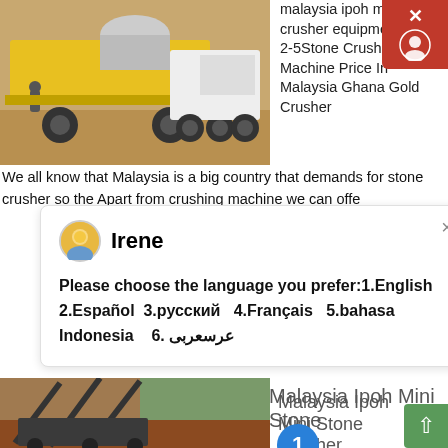[Figure (photo): Yellow mobile stone crusher machine on a sandy/dirt construction site]
malaysia ipoh mini stone crusher equipment. 2021-2-5Stone Crusher Machine Price In Malaysia Ghana Gold Crusher We all know that Malaysia is a big country that demands for stone crusher so the Apart from crushing machine we can offe
[Figure (screenshot): Chat popup with avatar of Irene, showing language choice message: Please choose the language you prefer:1.English 2.Español 3.русский 4.Français 5.bahasa Indonesia 6. عرسعربى]
[Figure (photo): Dark-colored mobile stone crushing conveyor equipment on a red-dirt construction site with trees in background]
Malaysia Ipoh Mini Stone Crusher Equipment
Malaysia ipoh mini stone crusher equipment Grinding Mill. stone crusher